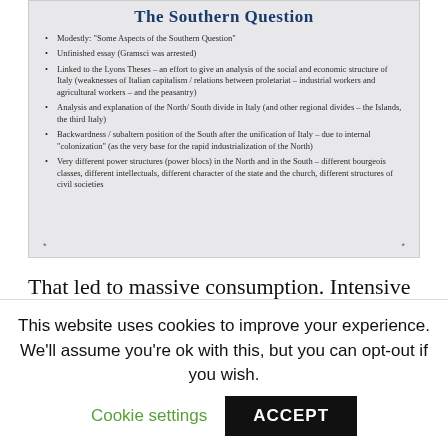[Figure (screenshot): A presentation slide titled 'The Southern Question' with bullet points about Gramsci's essay]
Modestly: "Some Aspects of the Southern Question"
Unfinished essay (Gramsci was arrested)
Linked to the Lyons Theses – an effort to give an analysis of the social and economic structure of Italy (weaknesses of Italian capitalism / relations between proletariat – industrial workers and agricultural workers – and the peasantry)
Analysis and explanation of the North/ South divide in Italy (and other regional divides – the Islands, the third Italy)
Backwardness / subaltern position of the South after the unification of Italy – due to internal "colonization" (as the very base for the rapid industrialization of the North)
Very different power structures (power blocs) in the North and in the South – different bourgeois classes, different intellectuals, different character of the state and the church, different structures of civil societies
That led to massive consumption. Intensive accumulation rested on processes of mass production such as mechanization, the
This website uses cookies to improve your experience. We'll assume you're ok with this, but you can opt-out if you wish. Cookie settings ACCEPT